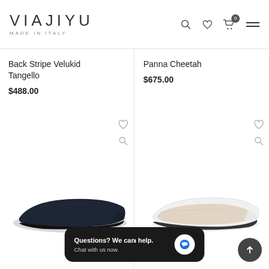VIAJIYU MADE IN ITALY
Back Stripe Velukid Tangello
$488.00
Panna Cheetah
$675.00
[Figure (photo): Navy blue suede pointed-toe ballet flat shoe, side view]
[Figure (photo): White leather pointed-toe ballet flat shoe, side view]
Questions? We can help. Chat with us now.